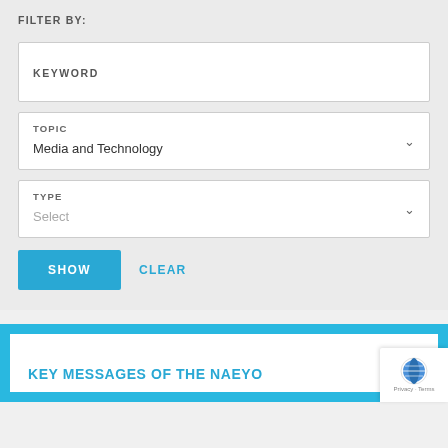FILTER BY:
KEYWORD
TOPIC
Media and Technology
TYPE
Select
SHOW
CLEAR
KEY MESSAGES OF THE NAEYO...